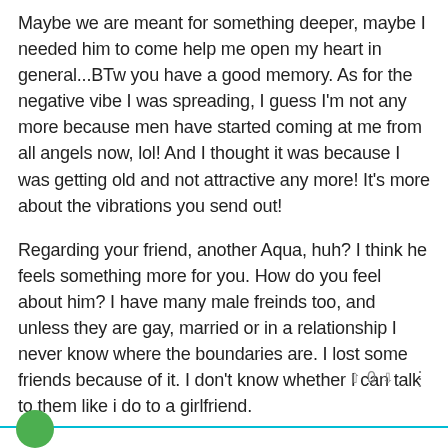Maybe we are meant for something deeper, maybe I needed him to come help me open my heart in general...BTw you have a good memory. As for the negative vibe I was spreading, I guess I'm not any more because men have started coming at me from all angels now, lol! And I thought it was because I was getting old and not attractive any more! It's more about the vibrations you send out!
Regarding your friend, another Aqua, huh? I think he feels something more for you. How do you feel about him? I have many male freinds too, and unless they are gay, married or in a relationship I never know where the boundaries are. I lost some friends because of it. I don't know whether I can talk to them like i do to a girlfriend.